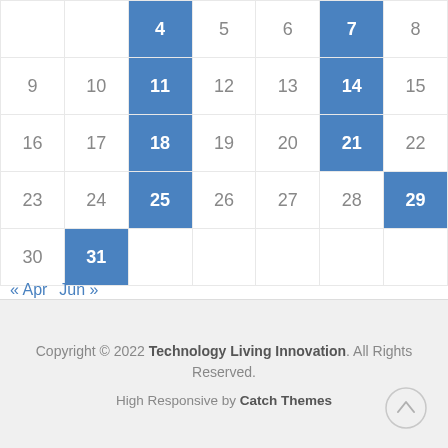| Sun | Mon | Tue | Wed | Thu | Fri | Sat |
| --- | --- | --- | --- | --- | --- | --- |
|  |  |  | 4 | 5 | 6 | 7 | 8 |
| 9 | 10 | 11 | 12 | 13 | 14 | 15 |
| 16 | 17 | 18 | 19 | 20 | 21 | 22 |
| 23 | 24 | 25 | 26 | 27 | 28 | 29 |
| 30 | 31 |  |  |  |  |  |
« Apr  Jun »
Copyright © 2022 Technology Living Innovation. All Rights Reserved.
High Responsive by Catch Themes